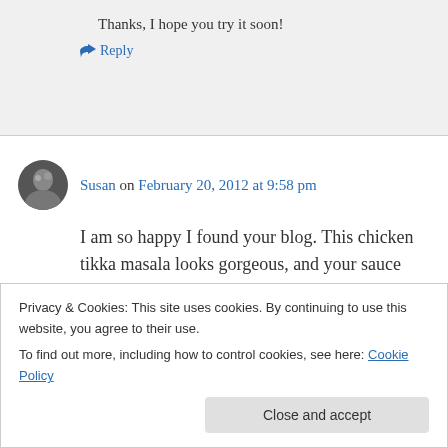Thanks, I hope you try it soon!
↪ Reply
Susan on February 20, 2012 at 9:58 pm
I am so happy I found your blog. This chicken tikka masala looks gorgeous, and your sauce
Privacy & Cookies: This site uses cookies. By continuing to use this website, you agree to their use. To find out more, including how to control cookies, see here: Cookie Policy
Close and accept